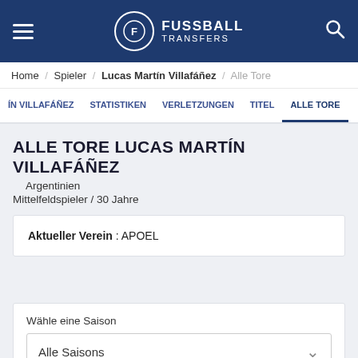FUSSBALL TRANSFERS
Home / Spieler / Lucas Martín Villafáñez / Alle Tore
ÍN VILLAFÁÑEZ   STATISTIKEN   VERLETZUNGEN   TITEL   ALLE TORE
ALLE TORE LUCAS MARTÍN VILLAFÁÑEZ
Argentinien
Mittelfeldspieler / 30 Jahre
Aktueller Verein : APOEL
Wähle eine Saison
Alle Saisons